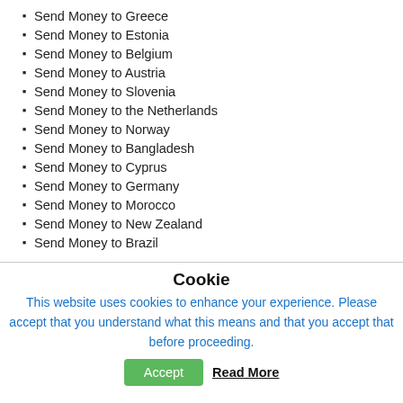Send Money to Greece
Send Money to Estonia
Send Money to Belgium
Send Money to Austria
Send Money to Slovenia
Send Money to the Netherlands
Send Money to Norway
Send Money to Bangladesh
Send Money to Cyprus
Send Money to Germany
Send Money to Morocco
Send Money to New Zealand
Send Money to Brazil
Cookie
This website uses cookies to enhance your experience. Please accept that you understand what this means and that you accept that before proceeding.